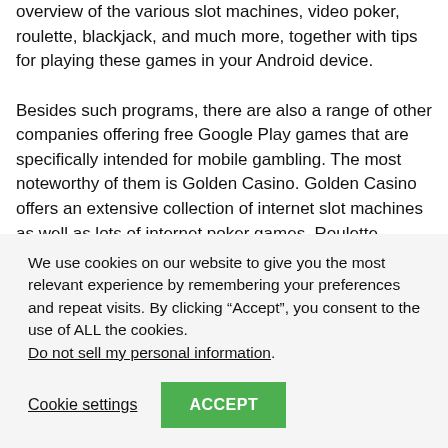overview of the various slot machines, video poker, roulette, blackjack, and much more, together with tips for playing these games in your Android device.
Besides such programs, there are also a range of other companies offering free Google Play games that are specifically intended for mobile gambling. The most noteworthy of them is Golden Casino. Golden Casino offers an extensive collection of internet slot machines as well as lots of internet poker games, Roulette, Baccarat, Craps, Keno, and more. They also supply a
We use cookies on our website to give you the most relevant experience by remembering your preferences and repeat visits. By clicking “Accept”, you consent to the use of ALL the cookies. Do not sell my personal information.
Cookie settings
ACCEPT